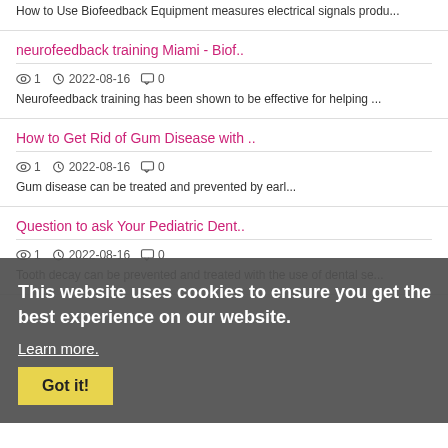How to Use Biofeedback Equipment measures electrical signals produ...
neurofeedback training Miami - Biof..
1  2022-08-16  0
Neurofeedback training has been shown to be effective for helping ...
How to Get Rid of Gum Disease with ..
1  2022-08-16  0
This website uses cookies to ensure you get the best experience on our website.
Learn more.
Question to ask Your Pediatric Dent..
1  2022-08-16  0  Got it!
Tooth decay can be prevented and treated with the use of dental se...